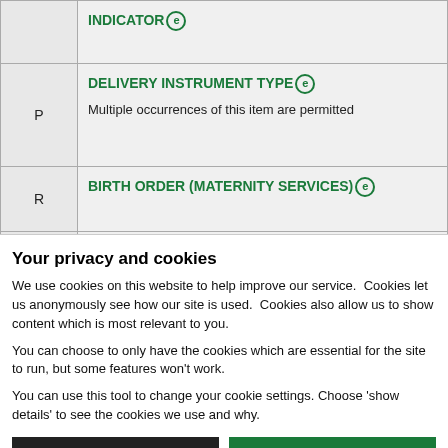|  |  |
| --- | --- |
|  | INDICATOR (e) |
| P | DELIVERY INSTRUMENT TYPE (e)
Multiple occurrences of this item are permitted |
| R | BIRTH ORDER (MATERNITY SERVICES) (e) |
| R | NUMBER OF FETUSES (NOTED DURING PREGNANCY EPISODE) (e) |
Your privacy and cookies
We use cookies on this website to help improve our service.  Cookies let us anonymously see how our site is used.  Cookies also allow us to show content which is most relevant to you.
You can choose to only have the cookies which are essential for the site to run, but some features won't work.
You can use this tool to change your cookie settings. Choose 'show details' to see the cookies we use and why.
Use necessary cookies only | Allow all cookies | Show details